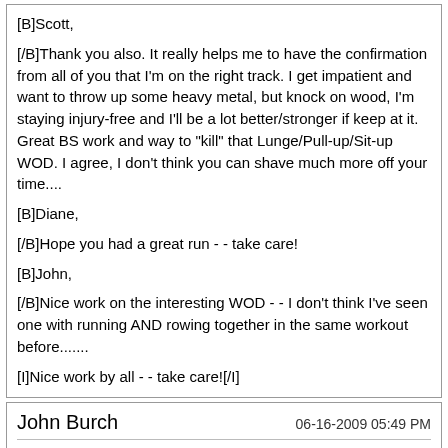[B]Scott,

[/B]Thank you also. It really helps me to have the confirmation from all of you that I'm on the right track. I get impatient and want to throw up some heavy metal, but knock on wood, I'm staying injury-free and I'll be a lot better/stronger if keep at it. Great BS work and way to "kill" that Lunge/Pull-up/Sit-up WOD. I agree, I don't think you can shave much more off your time....

[B]Diane,

[/B]Hope you had a great run - - take care!

[B]John,

[/B]Nice work on the interesting WOD - - I don't think I've seen one with running AND rowing together in the same workout before.......

[I]Nice work by all - - take care![/I]
John Burch   06-16-2009 05:49 PM
Re: Over 50 Crossfitters Sign In
At the Box
75 push press @ 75#
15 24" box jumps